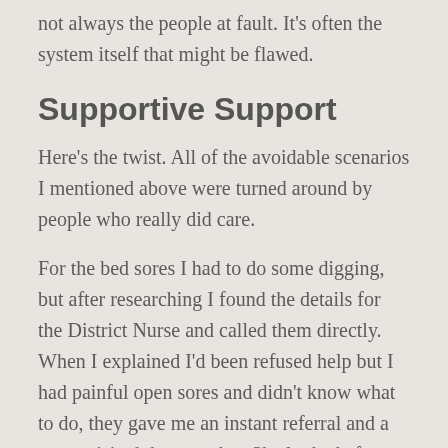not always the people at fault. It's often the system itself that might be flawed.
Supportive Support
Here's the twist. All of the avoidable scenarios I mentioned above were turned around by people who really did care.
For the bed sores I had to do some digging, but after researching I found the details for the District Nurse and called them directly. When I explained I'd been refused help but I had painful open sores and didn't know what to do, they gave me an instant referral and a nurse visited the next day. She looked after me for a month or so until the sores become